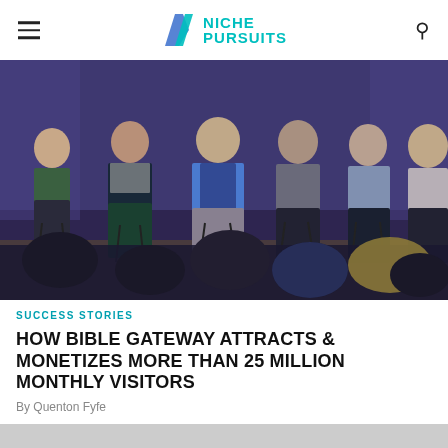NICHE PURSUITS
[Figure (photo): Panel of six people seated on stools on a stage with a purple backdrop, speaking to an audience visible from behind in the foreground.]
SUCCESS STORIES
HOW BIBLE GATEWAY ATTRACTS & MONETIZES MORE THAN 25 MILLION MONTHLY VISITORS
By Quenton Fyfe